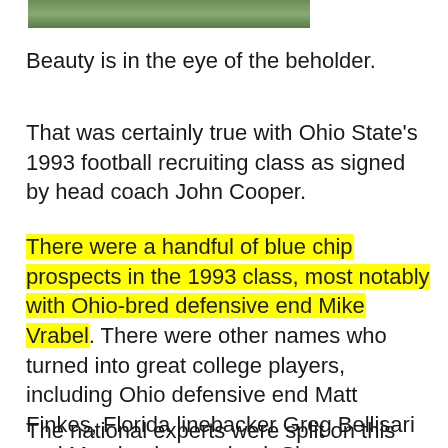[Figure (photo): Partial photo strip at top of page, showing greenery/outdoor scene]
Beauty is in the eye of the beholder.
That was certainly true with Ohio State's 1993 football recruiting class as signed by head coach John Cooper.
There were a handful of blue chip prospects in the 1993 class, most notably with Ohio-bred defensive end Mike Vrabel. There were other names who turned into great college players, including Ohio defensive end Matt Finkes, Florida linebacker Greg Bellisari and Maryland cornerback Shawn Springs.
The national experts were split on this class.